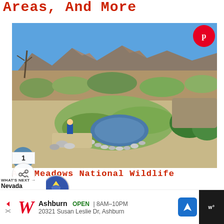Areas, And More
[Figure (photo): Outdoor nature scene showing Ash Meadows National Wildlife Refuge with a small pond, rocks, grassy vegetation, and mountains in the background under a blue sky]
Ash Meadows National Wildlife
WHAT'S NEXT → Nevada Counties
CONTINUE READING
Ashburn  OPEN | 8AM–10PM  20321 Susan Leslie Dr, Ashburn